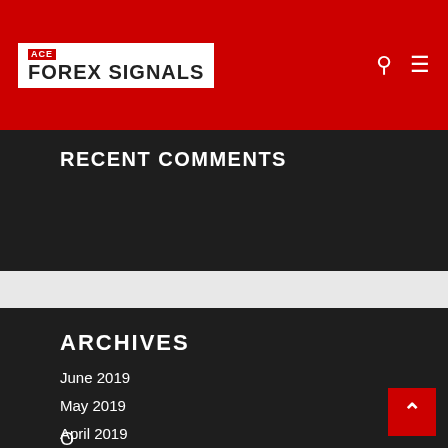ACE FOREX SIGNALS
RECENT COMMENTS
ARCHIVES
June 2019
May 2019
April 2019
March 2019
February 2019
O